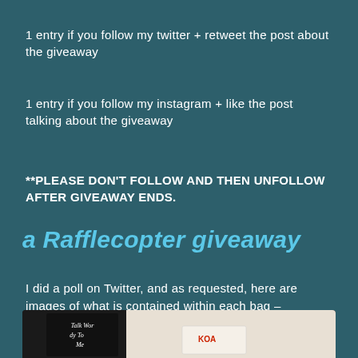1 entry if you follow my twitter + retweet the post about the giveaway
1 entry if you follow my instagram + like the post talking about the giveaway
**PLEASE DON'T FOLLOW AND THEN UNFOLLOW AFTER GIVEAWAY ENDS.
a Rafflecopter giveaway
I did a poll on Twitter, and as requested, here are images of what is contained within each bag –
[Figure (photo): Photo of a black book titled 'Talk Wordy To Me' with bookish items and what appears to be a KOA envelope/card on a white background]